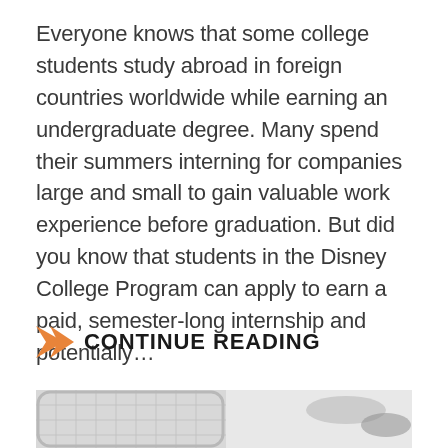Everyone knows that some college students study abroad in foreign countries worldwide while earning an undergraduate degree. Many spend their summers interning for companies large and small to gain valuable work experience before graduation. But did you know that students in the Disney College Program can apply to earn a paid, semester-long internship and potentially…
CONTINUE READING
[Figure (photo): Photo of a person relaxing on a bed or chair, viewed from behind/side, with a white mesh chair back visible on the left and legs/feet visible on the right side. The image is cropped at the bottom of the page.]